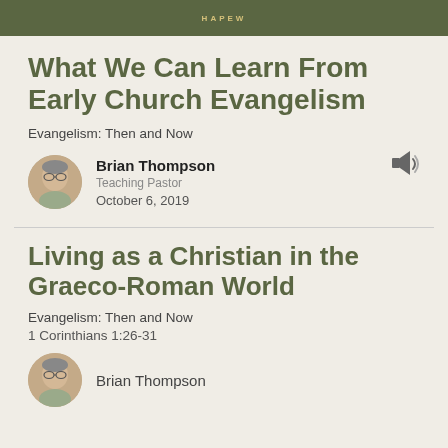HAPEW
What We Can Learn From Early Church Evangelism
Evangelism: Then and Now
Brian Thompson
Teaching Pastor
October 6, 2019
[Figure (other): Audio speaker icon]
Living as a Christian in the Graeco-Roman World
Evangelism: Then and Now
1 Corinthians 1:26-31
Brian Thompson